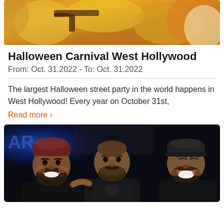[Figure (photo): Top portion of a Halloween-themed photo showing colorful costumes with yellow/orange tones, partially cropped]
Halloween Carnival West Hollywood
From: Oct. 31.2022 - To: Oct. 31.2022
The largest Halloween street party in the world happens in West Hollywood! Every year on October 31st,
Read more ›
[Figure (photo): Three men posing together in a dark nightclub/bar setting. Left man has dark red beanie and beard, smiling broadly. Center man has beard, serious expression. Right man wears black leather cap and is laughing. Sign in background reads 'AR'.]